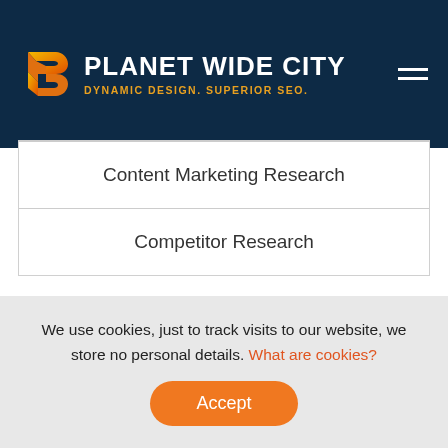[Figure (logo): Planet Wide City logo with orange arrow/ribbon icon and white text 'PLANET WIDE CITY' with gold tagline 'DYNAMIC DESIGN. SUPERIOR SEO.']
Content Marketing Research
Competitor Research
We use cookies, just to track visits to our website, we store no personal details. What are cookies?
Accept